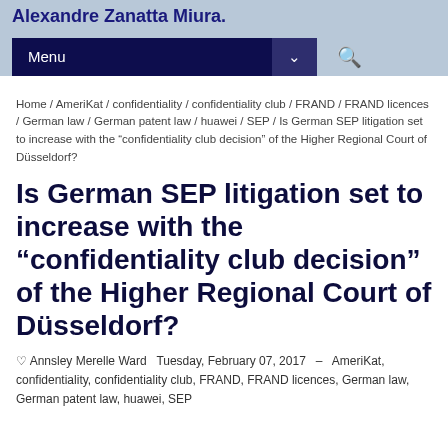Alexandre Zanatta Miura.
Menu
Home / AmeriKat / confidentiality / confidentiality club / FRAND / FRAND licences / German law / German patent law / huawei / SEP / Is German SEP litigation set to increase with the "confidentiality club decision" of the Higher Regional Court of Düsseldorf?
Is German SEP litigation set to increase with the "confidentiality club decision" of the Higher Regional Court of Düsseldorf?
Annsley Merelle Ward  Tuesday, February 07, 2017  –  AmeriKat, confidentiality, confidentiality club, FRAND, FRAND licences, German law, German patent law, huawei, SEP